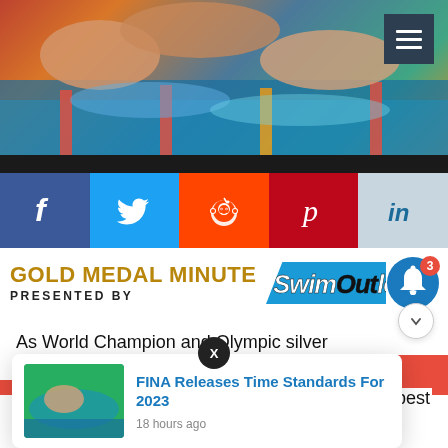[Figure (photo): Hero image of swimmer in pool, close-up of hand and water with colorful lane markers. Hamburger menu button in top right corner.]
[Figure (infographic): Social media sharing bar with icons for Facebook, Twitter, Reddit, Pinterest, and LinkedIn.]
[Figure (logo): Gold Medal Minute logo presented by SwimOutlet.com, with notification bell showing 3 notifications.]
As World Champion and Olympic silver medalist Chase
[Figure (screenshot): Popup notification card: FINA Releases Time Standards For 2023, 18 hours ago, with swimmer thumbnail. X close button overlaid.]
et the best